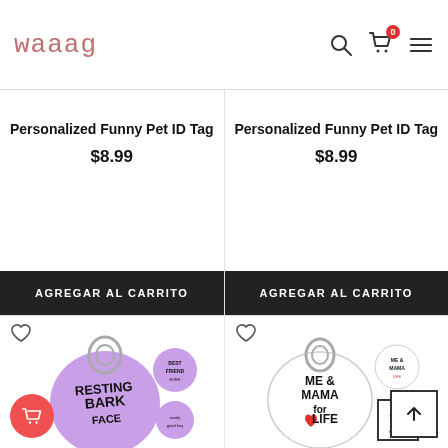[Figure (logo): Waaag pet store logo in stylized handwritten font]
Personalized Funny Pet ID Tag
$8.99
AGREGAR AL CARRITO
Personalized Funny Pet ID Tag
$8.99
AGREGAR AL CARRITO
[Figure (photo): Purple round pet ID tag with 'Resting Bark Face' text, shown with keyring and smaller tags]
[Figure (photo): White round pet ID tag with 'Me & Mama for Life' text with red heart, shown with keyring and smaller tags]